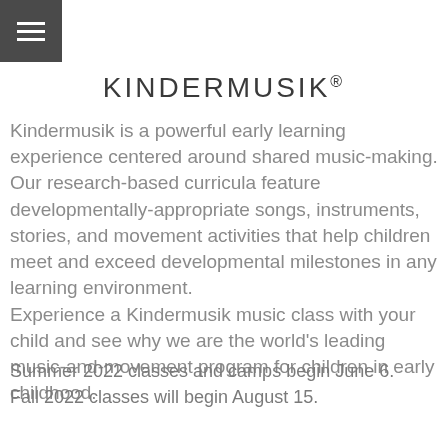KINDERMUSIK®
Kindermusik is a powerful early learning experience centered around shared music-making. Our research-based curricula feature developmentally-appropriate songs, instruments, stories, and movement activities that help children meet and exceed developmental milestones in any learning environment.
Experience a Kindermusik music class with your child and see why we are the world's leading music-and-movement program for children in early childhood.
Summer 2022 classes and camps begin June 6.
Fall 2022 classes will begin August 15.